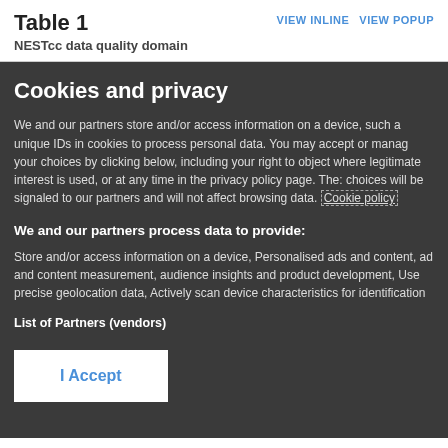Table 1
NESTcc data quality domain
VIEW INLINE   VIEW POPUP
Cookies and privacy
We and our partners store and/or access information on a device, such a unique IDs in cookies to process personal data. You may accept or manage your choices by clicking below, including your right to object where legitimate interest is used, or at any time in the privacy policy page. These choices will be signaled to our partners and will not affect browsing data. Cookie policy
We and our partners process data to provide:
Store and/or access information on a device, Personalised ads and content, ad and content measurement, audience insights and product development, Use precise geolocation data, Actively scan device characteristics for identification
List of Partners (vendors)
I Accept